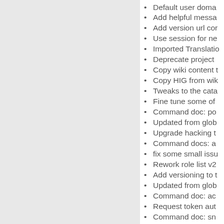Default user doma…
Add helpful messa…
Add version url co…
Use session for ne…
Imported Translati…
Deprecate project…
Copy wiki content t…
Copy HIG from wik…
Tweaks to the cata…
Fine tune some of…
Command doc: po…
Updated from glob…
Upgrade hacking t…
Command docs: a…
fix some small issu…
Rework role list v2…
Add versioning to t…
Updated from glob…
Command doc: ac…
Request token aut…
Command doc: sn…